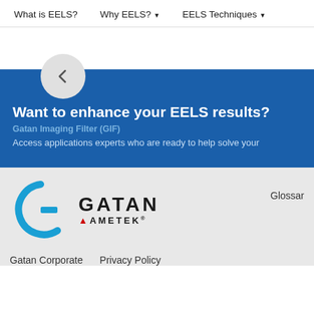What is EELS?   Why EELS? ▾   EELS Techniques ▾
[Figure (screenshot): Blue promotional banner with a circular back-arrow button, heading 'Want to enhance your EELS results?', subtitle 'Gatan Imaging Filter (GIF)', and text 'Access applications experts who are ready to help solve your']
[Figure (logo): Gatan AMETEK logo with blue G icon and GATAN AMETEK wordmark]
Glossar
Gatan Corporate   Privacy Policy